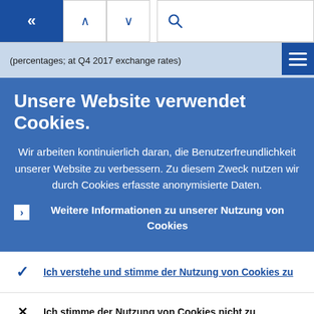[Figure (screenshot): Navigation bar with back button (blue, double left arrow), up and down arrow navigation buttons, and a search icon in a search box.]
(percentages; at Q4 2017 exchange rates)
Unsere Website verwendet Cookies.
Wir arbeiten kontinuierlich daran, die Benutzerfreundlichkeit unserer Website zu verbessern. Zu diesem Zweck nutzen wir durch Cookies erfasste anonymisierte Daten.
Weitere Informationen zu unserer Nutzung von Cookies
Ich verstehe und stimme der Nutzung von Cookies zu
Ich stimme der Nutzung von Cookies nicht zu